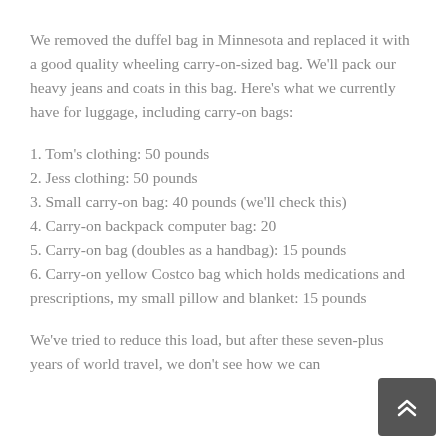We removed the duffel bag in Minnesota and replaced it with a good quality wheeling carry-on-sized bag. We'll pack our heavy jeans and coats in this bag. Here's what we currently have for luggage, including carry-on bags:
1. Tom's clothing: 50 pounds
2. Jess clothing: 50 pounds
3. Small carry-on bag: 40 pounds (we'll check this)
4. Carry-on backpack computer bag: 20
5. Carry-on bag (doubles as a handbag): 15 pounds
6. Carry-on yellow Costco bag which holds medications and prescriptions, my small pillow and blanket: 15 pounds
We've tried to reduce this load, but after these seven-plus years of world travel, we don't see how we can